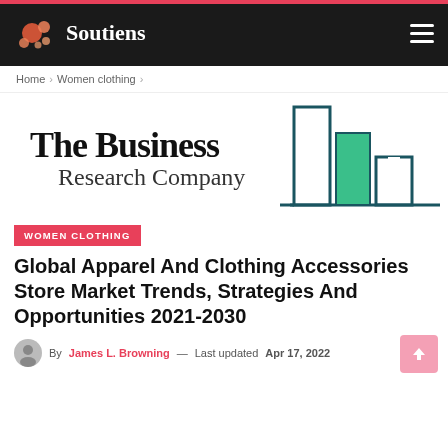Soutiens
Home > Women clothing >
[Figure (logo): The Business Research Company logo with teal bar chart graphic]
WOMEN CLOTHING
Global Apparel And Clothing Accessories Store Market Trends, Strategies And Opportunities 2021-2030
By James L. Browning — Last updated Apr 17, 2022